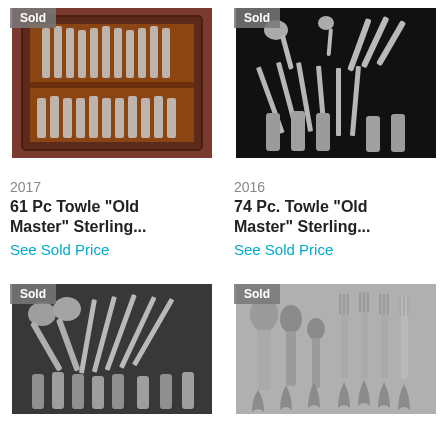[Figure (photo): Sterling silver flatware set in wooden box, labeled Sold]
[Figure (photo): Sterling silver flatware pieces on black background, labeled Sold]
2017
61 Pc Towle "Old Master" Sterling...
See Sold Price
2016
74 Pc. Towle "Old Master" Sterling...
See Sold Price
[Figure (photo): Sterling silver flatware pieces on dark gray background, labeled Sold]
[Figure (photo): Sterling silver spoons and forks on light gray background, labeled Sold]